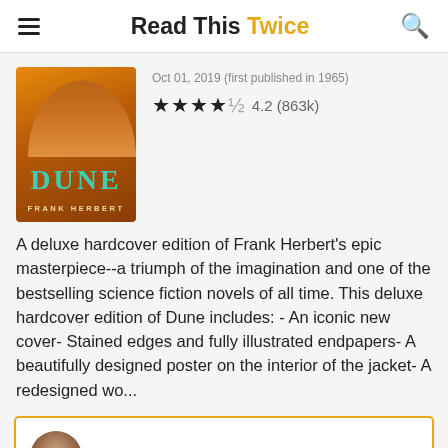Read This Twice
[Figure (photo): Book cover of Dune by Frank Herbert, deluxe edition with orange desert tones and teal title text]
Oct 01, 2019 (first published in 1965)
★★★★½  4.2 (863k)
A deluxe hardcover edition of Frank Herbert's epic masterpiece--a triumph of the imagination and one of the bestselling science fiction novels of all time. This deluxe hardcover edition of Dune includes: - An iconic new cover- Stained edges and fully illustrated endpapers- A beautifully designed poster on the interior of the jacket- A redesigned wo...
Paul Krugman   Sep 09, 2020